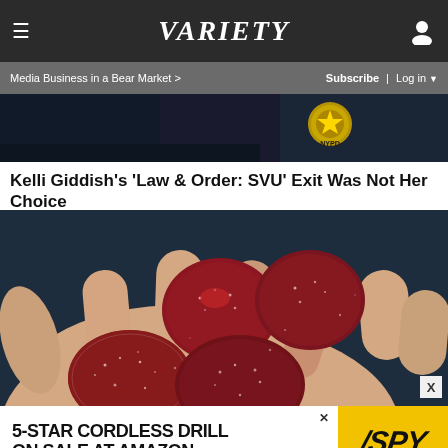≡  VARIETY  👤  |  Media Business in a Bear Market >  Subscribe | Log in ▼
[Figure (photo): Partial view of a person in dark clothing with an NYPD badge visible, against a blue background]
Kelli Giddish's 'Law & Order: SVU' Exit Was Not Her Choice
[Figure (photo): Close-up photo of a hand holding several red sugar-coated gummy candies against a dark blue background]
[Figure (other): Advertisement: 5-STAR CORDLESS DRILL ON SALE AT AMAZON / SPY logo on yellow background]